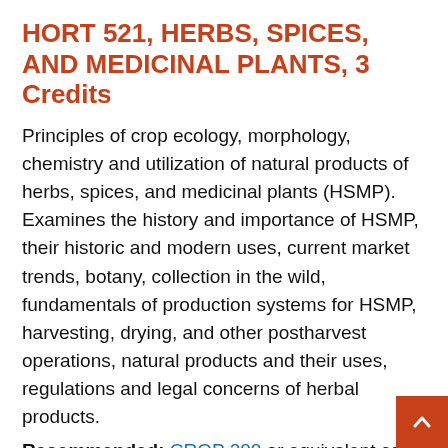HORT 521, HERBS, SPICES, AND MEDICINAL PLANTS, 3 Credits
Principles of crop ecology, morphology, chemistry and utilization of natural products of herbs, spices, and medicinal plants (HSMP). Examines the history and importance of HSMP, their historic and modern uses, current market trends, botany, collection in the wild, fundamentals of production systems for HSMP, harvesting, drying, and other postharvest operations, natural products and their uses, regulations and legal concerns of herbal products.
Recommended: CROP 200 or equivalent course in HORT.